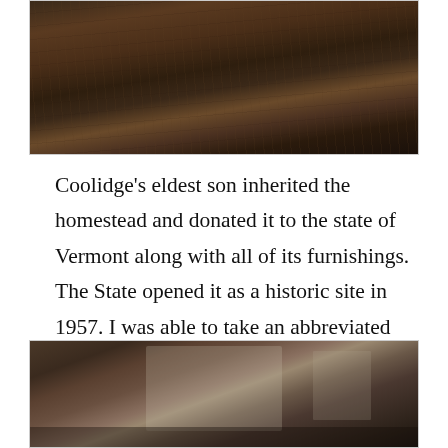[Figure (photo): Top portion of an interior photo showing what appears to be a rustic room, partially cropped at top of page]
Coolidge’s eldest son inherited the homestead and donated it to the state of Vermont along with all of its furnishings. The State opened it as a historic site in 1957. I was able to take an abbreviated tour (due to covid-19 restrictions) with a docent. She told us about the president’s modest upbringing and his unique inauguration before encouraging us to explore the rooms on our own.
[Figure (photo): Bottom portion of an interior photo showing a rustic wooden room with a window and what appears to be a mirror or framed object, partially cropped at bottom of page]